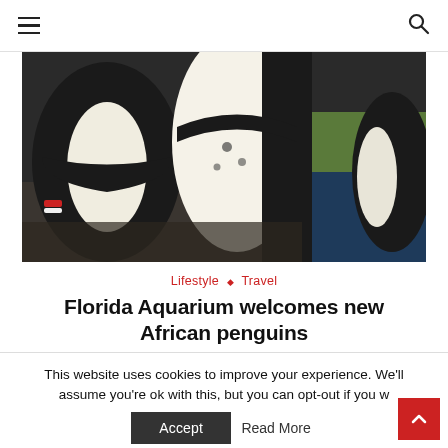≡  [search icon]
[Figure (photo): Close-up photo of African penguins at the Florida Aquarium, showing black and white penguins with one wearing a red/pink band on its flipper, on a rocky surface near a blue pool]
Lifestyle ◇ Travel
Florida Aquarium welcomes new African penguins
February 22, 2022
This website uses cookies to improve your experience. We'll assume you're ok with this, but you can opt-out if you w...
Accept   Read More